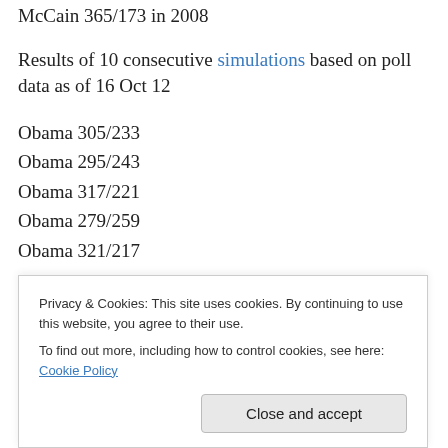McCain 365/173 in 2008
Results of 10 consecutive simulations based on poll data as of 16 Oct 12
Obama 305/233
Obama 295/243
Obama 317/221
Obama 279/259
Obama 321/217
Obama 294/244
Obama 297/251
Privacy & Cookies: This site uses cookies. By continuing to use this website, you agree to their use. To find out more, including how to control cookies, see here: Cookie Policy
Close and accept